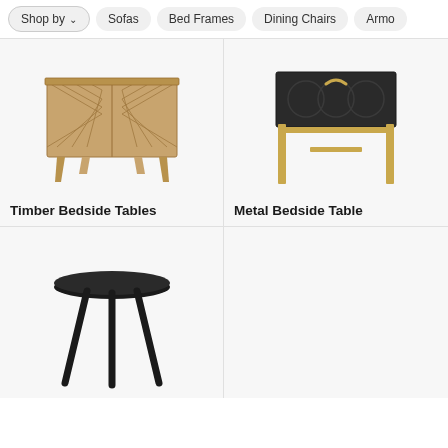Shop by | Sofas | Bed Frames | Dining Chairs | Armo...
[Figure (illustration): Timber dresser/bedside table with herringbone pattern front and angled wooden legs]
Timber Bedside Tables
[Figure (illustration): Metal bedside table with dark patterned drawer top and gold/brass frame legs]
Metal Bedside Table
[Figure (illustration): Black round side table with three angled legs]